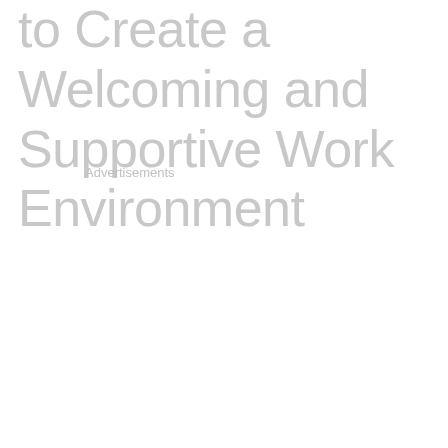to Create a Welcoming and Supportive Work Environment
Advertisements